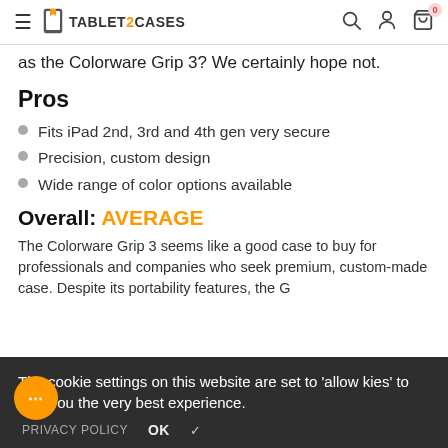TABLET2CASES — navigation header with hamburger, logo, search, user, and cart icons
as the Colorware Grip 3? We certainly hope not.
Pros
Fits iPad 2nd, 3rd and 4th gen very secure
Precision, custom design
Wide range of color options available
Overall: AVERAGE
The Colorware Grip 3 seems like a good case to buy for professionals and companies who seek premium, custom-made case. Despite its portability features, the G… choice for
The cookie settings on this website are set to 'allow kies' to give you the very best experience.